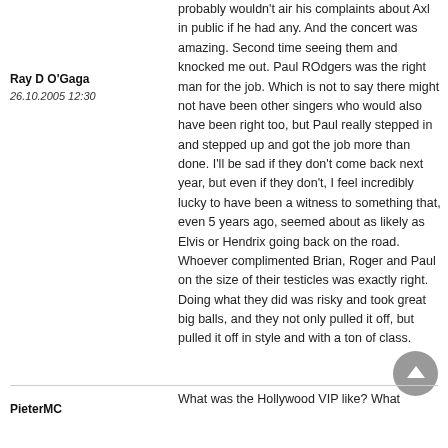Ray D O'Gaga
26.10.2005 12:30
probably wouldn't air his complaints about Axl in public if he had any. And the concert was amazing. Second time seeing them and knocked me out. Paul ROdgers was the right man for the job. Which is not to say there might not have been other singers who would also have been right too, but Paul really stepped in and stepped up and got the job more than done. I'll be sad if they don't come back next year, but even if they don't, I feel incredibly lucky to have been a witness to something that, even 5 years ago, seemed about as likely as Elvis or Hendrix going back on the road. Whoever complimented Brian, Roger and Paul on the size of their testicles was exactly right. Doing what they did was risky and took great big balls, and they not only pulled it off, but pulled it off in style and with a ton of class.
PieterMC
What was the Hollywood VIP like? What